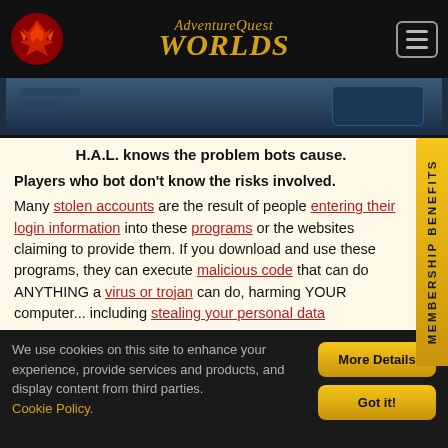AdventureQuest Worlds
[Figure (screenshot): Partial game screenshot strip showing a dark blue game scene]
H.A.L. knows the problem bots cause.
Players who bot don't know the risks involved. Many stolen accounts are the result of people entering their login information into these programs or the websites claiming to provide them. If you download and use these programs, they can execute malicious code that can do ANYTHING a virus or trojan can do, harming YOUR computer... including stealing your personal data
We use cookies on this site to enhance your experience, provide services and products, and display content from third parties. Cookie Policy.